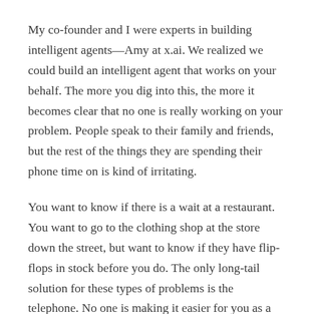My co-founder and I were experts in building intelligent agents—Amy at x.ai. We realized we could build an intelligent agent that works on your behalf. The more you dig into this, the more it becomes clear that no one is really working on your problem. People speak to their family and friends, but the rest of the things they are spending their phone time on is kind of irritating.
You want to know if there is a wait at a restaurant. You want to go to the clothing shop at the store down the street, but want to know if they have flip-flops in stock before you do. The only long-tail solution for these types of problems is the telephone. No one is making it easier for you as a consumer. You have to call and find out. You wait on hold. Big companies are trying to control their costs